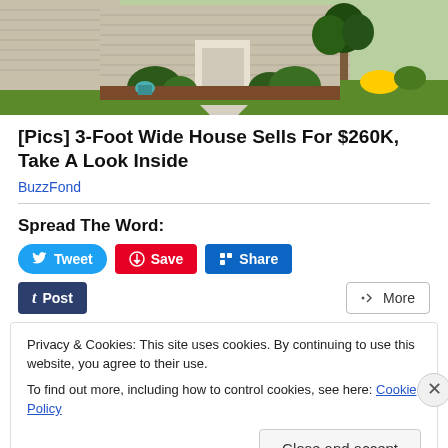[Figure (photo): Exterior photo of a suburban house with green lawn, shrubs, and a concrete walkway leading to the front entrance.]
[Pics] 3-Foot Wide House Sells For $260K, Take A Look Inside
BuzzFond
Spread The Word:
Tweet | Save | Share | Post | More
Privacy & Cookies: This site uses cookies. By continuing to use this website, you agree to their use.
To find out more, including how to control cookies, see here: Cookie Policy
Close and accept